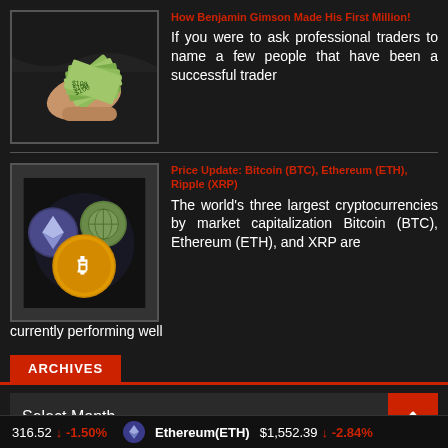[Figure (photo): Hand holding a fan of US dollar bills]
How Benjamin Gimson Made His First Million!
If you were to ask professional traders to name a few people that have been a successful trader
[Figure (photo): Three cryptocurrency coins: Ethereum, a globe coin, and Bitcoin]
Price Update: Bitcoin (BTC), Ethereum (ETH), Ripple (XRP)
The world’s three largest cryptocurrencies by market capitalization Bitcoin (BTC), Ethereum (ETH), and XRP are currently performing well
ARCHIVES
Select Month
316.52  ↓ -1.50%  Ethereum(ETH)  $1,552.39  ↓ -2.84%